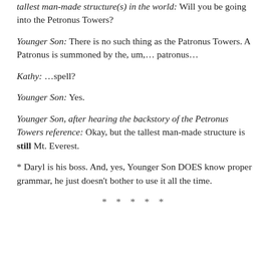tallest man-made structure(s) in the world: Will you be going into the Petronus Towers?
Younger Son: There is no such thing as the Patronus Towers. A Patronus is summoned by the, um,… patronus…
Kathy: …spell?
Younger Son: Yes.
Younger Son, after hearing the backstory of the Petronus Towers reference: Okay, but the tallest man-made structure is still Mt. Everest.
* Daryl is his boss. And, yes, Younger Son DOES know proper grammar, he just doesn't bother to use it all the time.
* * * * *